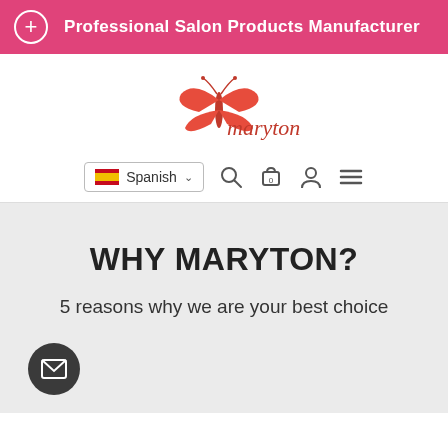Professional Salon Products Manufacturer
[Figure (logo): Maryton brand logo with red butterfly and red script text 'maryton']
[Figure (screenshot): Navigation bar with Spanish language selector (flag), search icon, cart icon, account icon, and hamburger menu icon]
WHY MARYTON?
5 reasons why we are your best choice